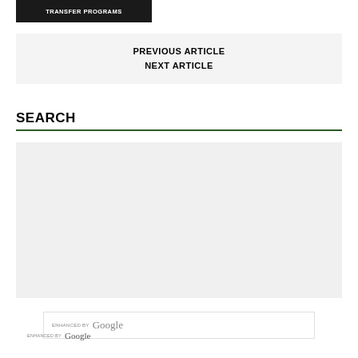TRANSFER PROGRAMS
PREVIOUS ARTICLE
NEXT ARTICLE
SEARCH
[Figure (screenshot): Google enhanced search widget with search input box showing 'enhanced by Google' text and a dark green search button with magnifying glass icon]
enhanced by Google